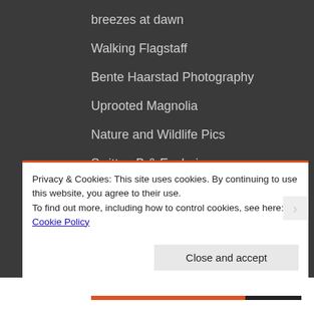breezes at dawn
Walking Flagstaff
Bente Haarstad Photography
Uprooted Magnolia
Nature and Wildlife Pics
SwittersB & Exploring
PHOTOGRAPHY & PASTELS BART BYLOIS
Toby Gant's Photography Blog
Privacy & Cookies: This site uses cookies. By continuing to use this website, you agree to their use.
To find out more, including how to control cookies, see here: Cookie Policy